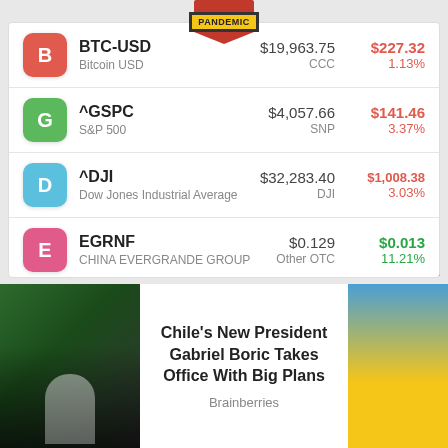[Figure (screenshot): Pandemic badge/logo at top of widget]
| Symbol | Name | Price | Change | % Change | Exchange |
| --- | --- | --- | --- | --- | --- |
| BTC-USD | Bitcoin USD | $19,963.75 | $227.32 | 1.13% | CCC |
| ^GSPC | S&P 500 | $4,057.66 | $141.46 | 3.37% | SNP |
| ^DJI | Dow Jones Industrial Average | $32,283.40 | $1,008.38 | 3.03% | DJI |
| EGRNF | CHINA EVERGRANDE GROUP | $0.129 | $0.013 | 11.21% | Other OTC |
[Figure (screenshot): Close button (X) in bottom right of widget]
[Figure (photo): Photo of Gabriel Boric celebrating with crowd]
Chile's New President Gabriel Boric Takes Office With Big Plans
Brainberries
[Figure (photo): Advertisement image with fist and yellow/blue design]